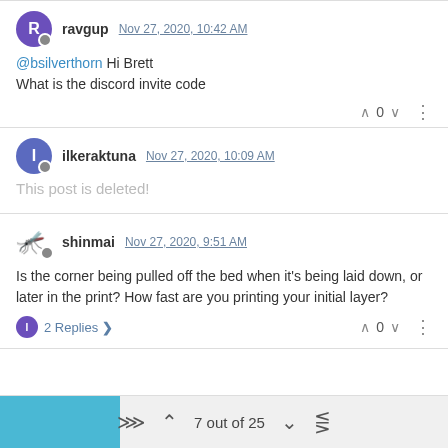ravgup Nov 27, 2020, 10:42 AM
@bsilverthorn Hi Brett
What is the discord invite code
ilkeraktuna Nov 27, 2020, 10:09 AM
This post is deleted!
shinmai Nov 27, 2020, 9:51 AM
Is the corner being pulled off the bed when it's being laid down, or later in the print? How fast are you printing your initial layer?
2 Replies
7 out of 25